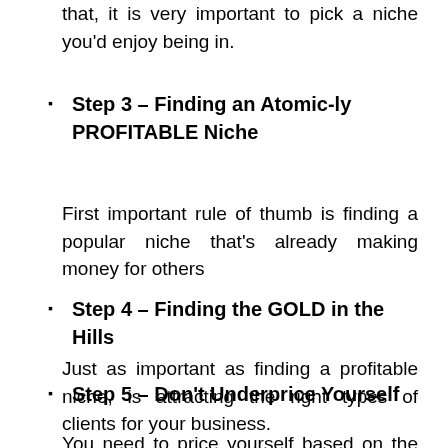that, it is very important to pick a niche you'd enjoy being in.
Step 3 – Finding an Atomic-ly PROFITABLE Niche
First important rule of thumb is finding a popular niche that's already making money for others
Step 4 – Finding the GOLD in the Hills
Just as important as finding a profitable niche, is attracting the right types of clients for your business.
Step 5 – Don't Underprice Yourself
You need to price yourself based on the value you